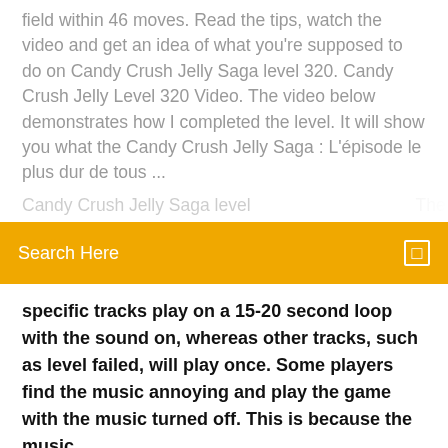field within 46 moves. Read the tips, watch the video and get an idea of what you're supposed to do on Candy Crush Jelly Saga level 320. Candy Crush Jelly Level 320 Video. The video below demonstrates how I completed the level. It will show you what the Candy Crush Jelly Saga : L'épisode le plus dur de tous ...
Candy Crush Jelly Saga level ... The ...
Search Here
specific tracks play on a 15-20 second loop with the sound on, whereas other tracks, such as level failed, will play once. Some players find the music annoying and play the game with the music turned off. This is because the music
Candy Crush Saga. 71,344,004 likes · 60,931 talking about this. Welcome to the official Candy Crush Saga fan page! Play Candy Crush –> Candy Crush : jouez en ligne sur Jeux-Gratuits.com Le jeu Candy Crush est une version en ligne de la célèbre application mobile Candy Crush Saga que vous offre Jeux-